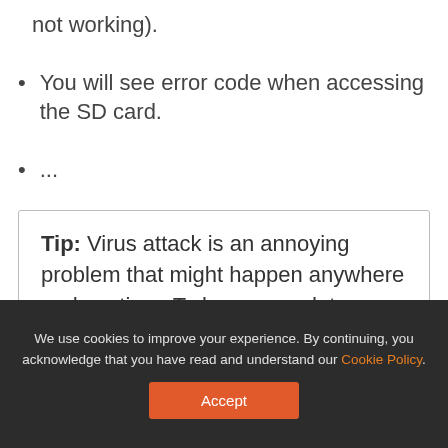not working).
You will see error code when accessing the SD card.
...
Tip: Virus attack is an annoying problem that might happen anywhere and anytime. To keep your data on SD card safe, you need to back up your SD card and scan for virus regularly.
We use cookies to improve your experience. By continuing, you acknowledge that you have read and understand our Cookie Policy. Accept